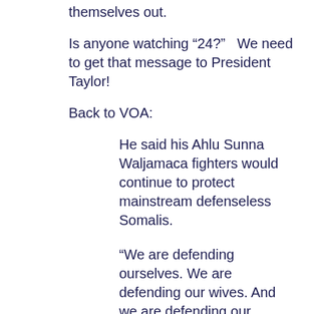themselves out.
Is anyone watching “24?”   We need to get that message to President Taylor!
Back to VOA:
He said his Ahlu Sunna Waljamaca fighters would continue to protect mainstream defenseless Somalis.
“We are defending ourselves. We are defending our wives. And we are defending our religion. Our religion prohibits Muslims fighting among ourselves, and you know, these people are not Muslims at all. They are foreign fighters, and I think they are al-Qaeda.